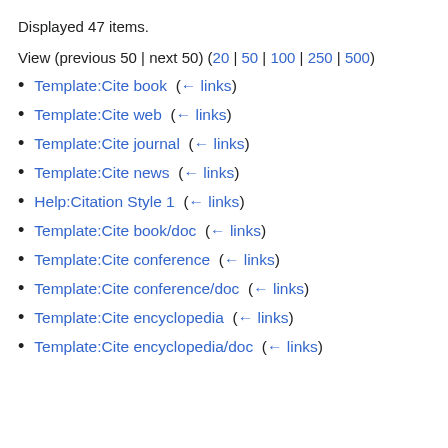Displayed 47 items.
View (previous 50 | next 50) (20 | 50 | 100 | 250 | 500)
Template:Cite book  (← links)
Template:Cite web  (← links)
Template:Cite journal  (← links)
Template:Cite news  (← links)
Help:Citation Style 1  (← links)
Template:Cite book/doc  (← links)
Template:Cite conference  (← links)
Template:Cite conference/doc  (← links)
Template:Cite encyclopedia  (← links)
Template:Cite encyclopedia/doc  (← links)